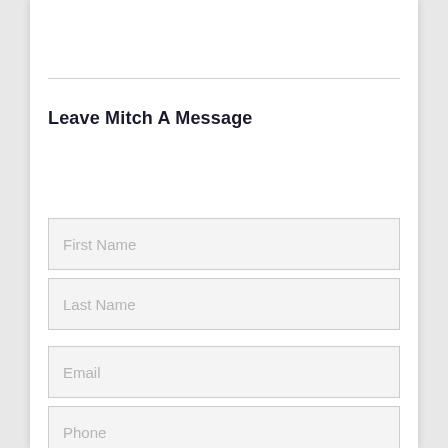Leave Mitch A Message
First Name
Last Name
Email
Phone